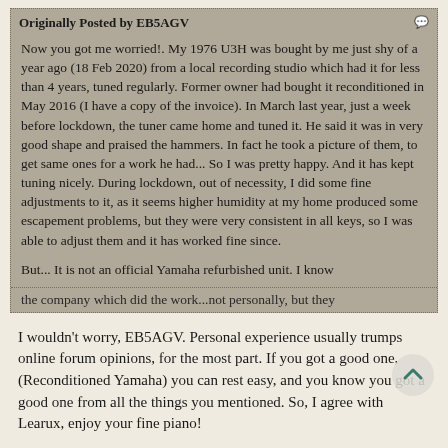Originally Posted by EB5AGV
Now you got me worried!. My 1976 U3H was bought by me just shy of a year ago (18 Feb 2020) from a local recording studio which had it for less than 4 years, tuned regularly. Former owner had bought it reconditioned in May 2016 (I have a copy of the invoice). In March last year, just a week before lockdown, the tuner came home and tuned it. He said it was in very good shape and praised the hammers. In fact he took a picture of them, to get same ones for a work he had... So I was pretty happy. And it has kept tuning nicely. During lockdown, out of necessity, I did some fine adjustments to it, as it seems higher humidity at my home produced some escapement problems, but they were very consistent in all keys, so I was able to adjust them and it has worked fine since.
But... It is not an official Yamaha refurbished unit. I know the company which did the work...not personally, but they
I wouldn't worry, EB5AGV. Personal experience usually trumps online forum opinions, for the most part. If you got a good one, (Reconditioned Yamaha) you can rest easy, and you know you got a good one from all the things you mentioned. So, I agree with Learux, enjoy your fine piano!